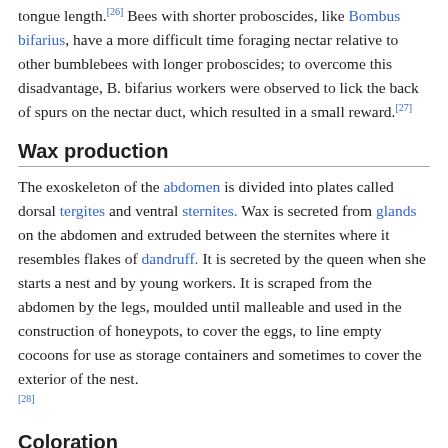tongue length.[26] Bees with shorter proboscides, like Bombus bifarius, have a more difficult time foraging nectar relative to other bumblebees with longer proboscides; to overcome this disadvantage, B. bifarius workers were observed to lick the back of spurs on the nectar duct, which resulted in a small reward.[27]
Wax production
The exoskeleton of the abdomen is divided into plates called dorsal tergites and ventral sternites. Wax is secreted from glands on the abdomen and extruded between the sternites where it resembles flakes of dandruff. It is secreted by the queen when she starts a nest and by young workers. It is scraped from the abdomen by the legs, moulded until malleable and used in the construction of honeypots, to cover the eggs, to line empty cocoons for use as storage containers and sometimes to cover the exterior of the nest.[28]
Coloration
Further information: aposematism and mimicry